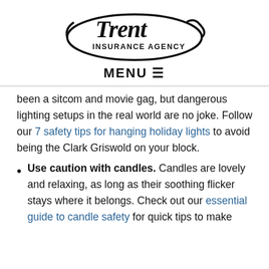[Figure (logo): Trent Insurance Agency logo — stylized italic 'Trent' text with 'INSURANCE AGENCY' in block letters, surrounded by a swooping oval graphic]
MENU ≡
been a sitcom and movie gag, but dangerous lighting setups in the real world are no joke. Follow our 7 safety tips for hanging holiday lights to avoid being the Clark Griswold on your block.
Use caution with candles. Candles are lovely and relaxing, as long as their soothing flicker stays where it belongs. Check out our essential guide to candle safety for quick tips to make